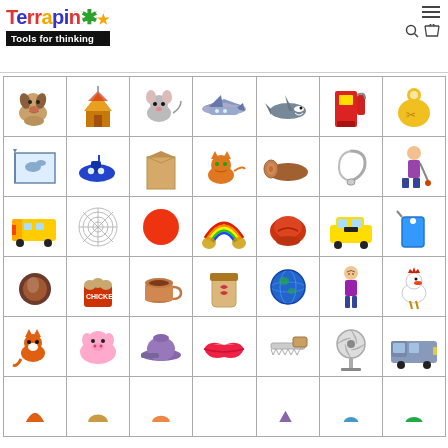Terrapin - Tools for thinking
[Figure (illustration): Grid of clipart images including a dog, house, mouse, airplane, shark, gas pump, bib, map, submarine, box, cat, log, safety pin, janitor, school bus, spider web, red circle, rainbow with pot of gold, baseball glove, taxi, price tag, coconut, popcorn chicken, coffee cup, jar, globe, confused man, rooster, fox, pig, cap, lips, saw, fan, van, and partial bottom row images]